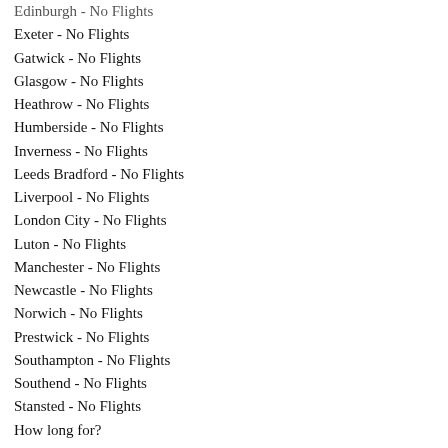Edinburgh - No Flights
Exeter - No Flights
Gatwick - No Flights
Glasgow - No Flights
Heathrow - No Flights
Humberside - No Flights
Inverness - No Flights
Leeds Bradford - No Flights
Liverpool - No Flights
London City - No Flights
Luton - No Flights
Manchester - No Flights
Newcastle - No Flights
Norwich - No Flights
Prestwick - No Flights
Southampton - No Flights
Southend - No Flights
Stansted - No Flights
How long for?
How long?
5 nights
7 nights